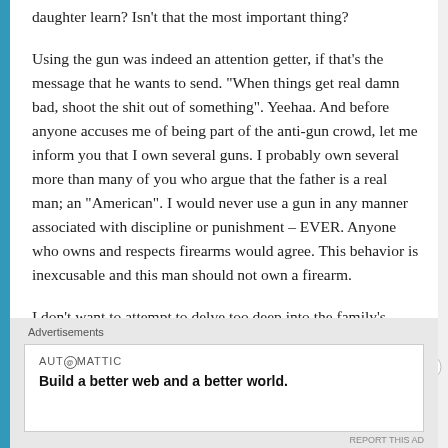daughter learn? Isn't that the most important thing?
Using the gun was indeed an attention getter, if that's the message that he wants to send. "When things get real damn bad, shoot the shit out of something". Yeehaa. And before anyone accuses me of being part of the anti-gun crowd, let me inform you that I own several guns. I probably own several more than many of you who argue that the father is a real man; an "American". I would never use a gun in any manner associated with discipline or punishment – EVER. Anyone who owns and respects firearms would agree. This behavior is inexcusable and this man should not own a firearm.
I don't want to attempt to delve too deep into the family's
[Figure (other): Automattic advertisement banner with close button: 'Build a better web and a better world.']